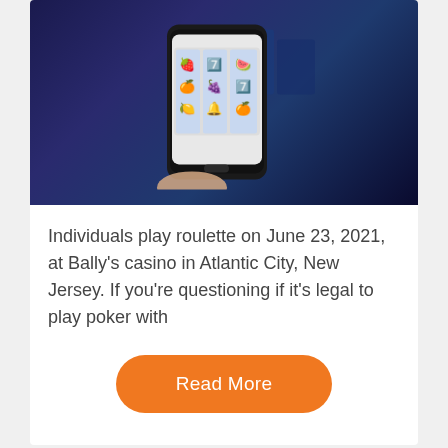[Figure (photo): A hand holding a smartphone displaying a slot machine game with fruit symbols, with casino slot machines visible in the blurred background.]
Individuals play roulette on June 23, 2021, at Bally's casino in Atlantic City, New Jersey. If you're questioning if it's legal to play poker with
Read More
Poker
How To teach Casino Game Better Than Anybody Else